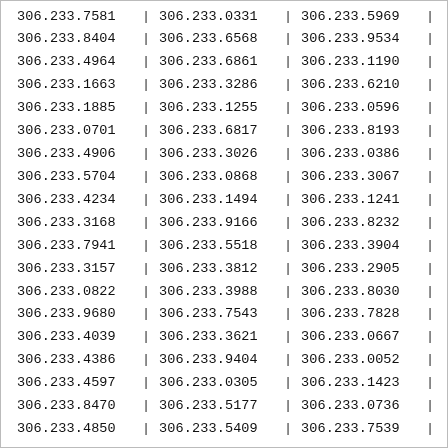| 306.233.7581 | | | 306.233.0331 | | | 306.233.5969 | | |
| 306.233.8404 | | | 306.233.6568 | | | 306.233.9534 | | |
| 306.233.4964 | | | 306.233.6861 | | | 306.233.1190 | | |
| 306.233.1663 | | | 306.233.3286 | | | 306.233.6210 | | |
| 306.233.1885 | | | 306.233.1255 | | | 306.233.0596 | | |
| 306.233.0701 | | | 306.233.6817 | | | 306.233.8193 | | |
| 306.233.4906 | | | 306.233.3026 | | | 306.233.0386 | | |
| 306.233.5704 | | | 306.233.0868 | | | 306.233.3067 | | |
| 306.233.4234 | | | 306.233.1494 | | | 306.233.1241 | | |
| 306.233.3168 | | | 306.233.9166 | | | 306.233.8232 | | |
| 306.233.7941 | | | 306.233.5518 | | | 306.233.3904 | | |
| 306.233.3157 | | | 306.233.3812 | | | 306.233.2905 | | |
| 306.233.0822 | | | 306.233.3988 | | | 306.233.8030 | | |
| 306.233.9680 | | | 306.233.7543 | | | 306.233.7828 | | |
| 306.233.4039 | | | 306.233.3621 | | | 306.233.0667 | | |
| 306.233.4386 | | | 306.233.9404 | | | 306.233.0052 | | |
| 306.233.4597 | | | 306.233.0305 | | | 306.233.1423 | | |
| 306.233.8470 | | | 306.233.5177 | | | 306.233.0736 | | |
| 306.233.4850 | | | 306.233.5409 | | | 306.233.7539 | | |